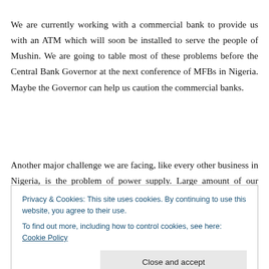We are currently working with a commercial bank to provide us with an ATM which will soon be installed to serve the people of Mushin. We are going to table most of these problems before the Central Bank Governor at the next conference of MFBs in Nigeria. Maybe the Governor can help us caution the commercial banks.
Another major challenge we are facing, like every other business in Nigeria, is the problem of power supply. Large amount of our money goes to fuelling of generating sets,
Privacy & Cookies: This site uses cookies. By continuing to use this website, you agree to their use.
To find out more, including how to control cookies, see here: Cookie Policy
bank? The issue of multiple taxation, too, is another